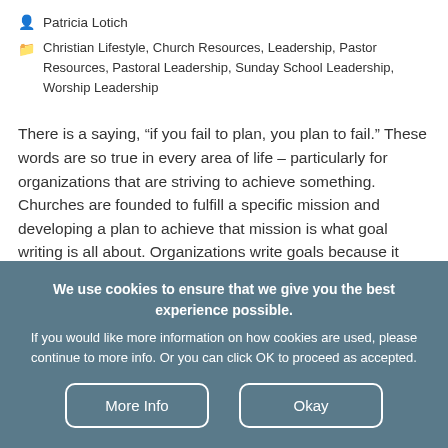Patricia Lotich
Christian Lifestyle, Church Resources, Leadership, Pastor Resources, Pastoral Leadership, Sunday School Leadership, Worship Leadership
There is a saying, “if you fail to plan, you plan to fail.” These words are so true in every area of life – particularly for organizations that are striving to achieve something. Churches are founded to fulfill a specific mission and developing a plan to achieve that mission is what goal writing is all about. Organizations write goals because it provides a road map for attaining the mission and vision. Goals simply provide a structured process to get things done. Organizations that don’t write goals
We use cookies to ensure that we give you the best experience possible.
If you would like more information on how cookies are used, please continue to more info. Or you can click OK to proceed as accepted.
More Info
Okay